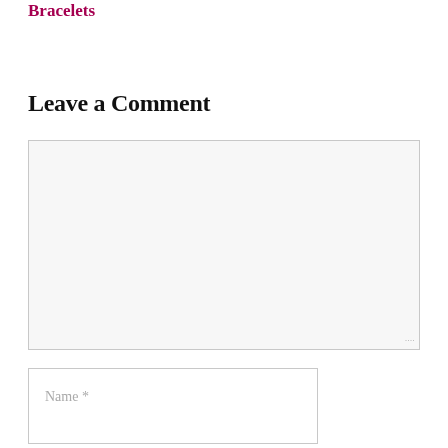Bracelets
Leave a Comment
[Figure (other): Comment text area input field, empty, with light gray background and resize handle at bottom right]
[Figure (other): Name input field with placeholder text 'Name *']